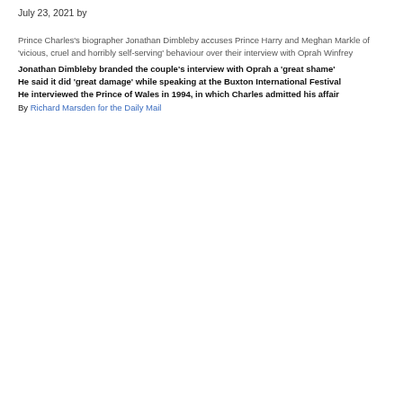July 23, 2021 by
Prince Charles's biographer Jonathan Dimbleby accuses Prince Harry and Meghan Markle of 'vicious, cruel and horribly self-serving' behaviour over their interview with Oprah Winfrey
Jonathan Dimbleby branded the couple's interview with Oprah a 'great shame'
He said it did 'great damage' while speaking at the Buxton International Festival
He interviewed the Prince of Wales in 1994, in which Charles admitted his affair
By Richard Marsden for the Daily Mail